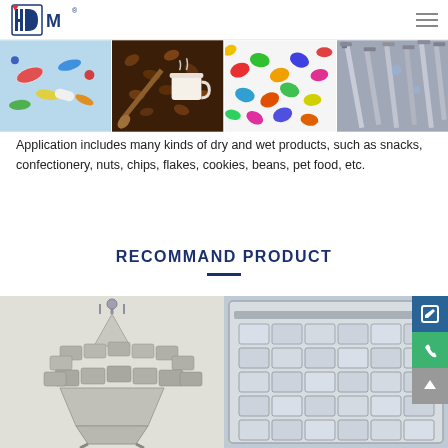HDM logo and navigation
[Figure (photo): Three product application photos: pills/capsules on blue background, coffee beans with cup, colorful candy/jellybeans, metal screws/fasteners]
Application includes many kinds of dry and wet products, such as snacks, confectionery, nuts, chips, flakes, cookies, beans, pet food, etc.
RECOMMAND PRODUCT
[Figure (photo): Multihead weigher machine product photo - silver/grey industrial weighing machine]
[Figure (photo): Linear weigher/tray sealer product photo showing stainless steel trays and conveyor system]